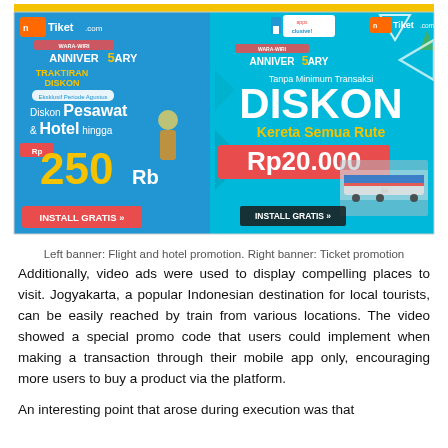[Figure (illustration): Two Tiket.com promotional banners side by side. Left banner shows 'Anniversary 5' with 'Traktiran Diskon' and 'Diskon Pesawat & Hotel hingga Rp 250 Rb' with 'INSTALL GRATIS' button on a blue background. Right banner shows 'apps clusive!' and 'Anniversary 5' with 'Tanpa Minimum Transaksi DISKON Kereta Semua Rute Rp20.000' with 'INSTALL GRATIS' button and a train image on cyan/blue background.]
Left banner: Flight and hotel promotion. Right banner: Ticket promotion
Additionally, video ads were used to display compelling places to visit. Jogyakarta, a popular Indonesian destination for local tourists, can be easily reached by train from various locations. The video showed a special promo code that users could implement when making a transaction through their mobile app only, encouraging more users to buy a product via the platform.
An interesting point that arose during execution was that